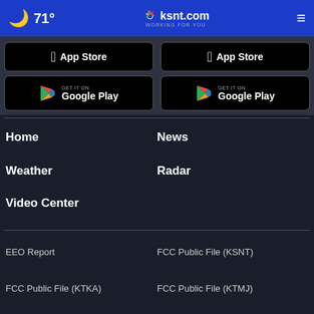🌙 71° | ksnt.com WORKING FOR YOU | ≡
[Figure (screenshot): App Store button (left column)]
[Figure (screenshot): App Store button (right column)]
[Figure (screenshot): Google Play button (left column)]
[Figure (screenshot): Google Play button (right column)]
Home
News
Weather
Radar
Video Center
EEO Report
FCC Public File (KSNT)
FCC Public File (KTKA)
FCC Public File (KTMJ)